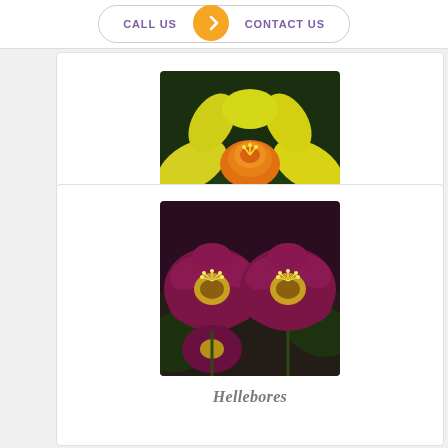CALL US | CONTACT US
[Figure (photo): Close-up photograph of a yellow daffodil flower with bright petals and orange center trumpet against dark background]
Daffodil
[Figure (photo): Close-up photograph of deep magenta/pink hellebores flowers with white stamens and green leaves]
Hellebores